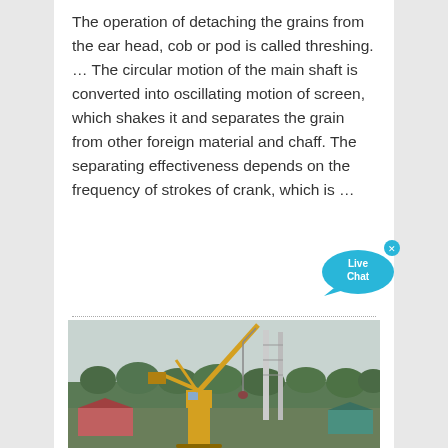The operation of detaching the grains from the ear head, cob or pod is called threshing. … The circular motion of the main shaft is converted into oscillating motion of screen, which shakes it and separates the grain from other foreign material and chaff. The separating effectiveness depends on the frequency of strokes of crank, which is …
[Figure (photo): A yellow construction crane with boom extended, operating at a rural or semi-rural site with trees and small buildings in the background under a pale sky.]